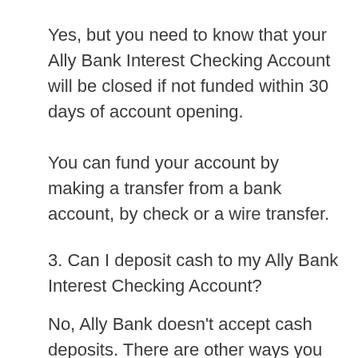Yes, but you need to know that your Ally Bank Interest Checking Account will be closed if not funded within 30 days of account opening.
You can fund your account by making a transfer from a bank account, by check or a wire transfer.
3. Can I deposit cash to my Ally Bank Interest Checking Account?
No, Ally Bank doesn't accept cash deposits. There are other ways you can make a deposit into your account, including remote